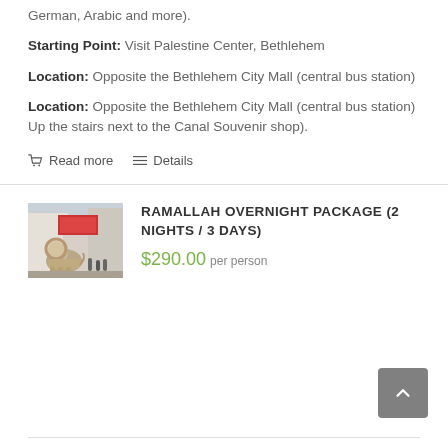German, Arabic and more).
Starting Point: Visit Palestine Center, Bethlehem
Location: Opposite the Bethlehem City Mall (central bus station)
Location: Opposite the Bethlehem City Mall (central bus station) Up the stairs next to the Canal Souvenir shop).
Read more
Details
[Figure (photo): Thumbnail photo of Ramallah showing a lion statue and city buildings]
RAMALLAH OVERNIGHT PACKAGE (2 NIGHTS / 3 DAYS)
$290.00 per person